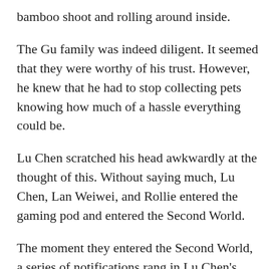bamboo shoot and rolling around inside.
The Gu family was indeed diligent. It seemed that they were worthy of his trust. However, he knew that he had to stop collecting pets knowing how much of a hassle everything could be.
Lu Chen scratched his head awkwardly at the thought of this. Without saying much, Lu Chen, Lan Weiwei, and Rollie entered the gaming pod and entered the Second World.
The moment they entered the Second World, a series of notifications rang in Lu Chen's ears.
[Congratulations on raising your level by 5 levels!]
[Congratulations on obtaining the origin world's weapon, the Shadow Dagger!]